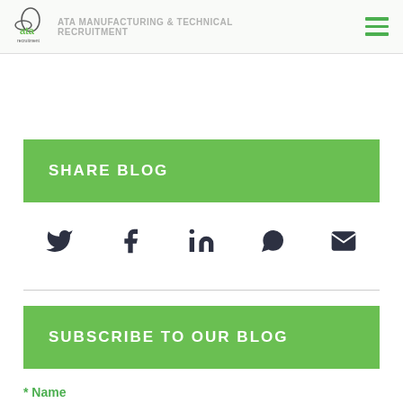ATA Recruitment
SHARE BLOG
[Figure (infographic): Social share icons: Twitter, Facebook, LinkedIn, WhatsApp, Email]
SUBSCRIBE TO OUR BLOG
* Name